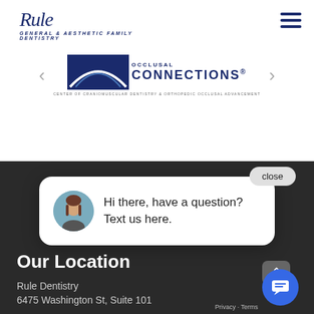[Figure (logo): Rule Dentistry logo with italic script 'Rule' and sans-serif 'DENTISTRY' text in navy blue]
[Figure (logo): Occlusal Connections logo — partial arc graphic with 'CONNECTIONS.' in navy and subtitle 'CENTER OF CRANIOMUSCULAR DENTISTRY & ORTHOPEDIC OCCLUSAL ADVANCEMENT']
[Figure (screenshot): Chat popup widget showing avatar of a woman and message 'Hi there, have a question? Text us here.' with a close button]
Our Location
Rule Dentistry
6475 Washington St, Suite 101